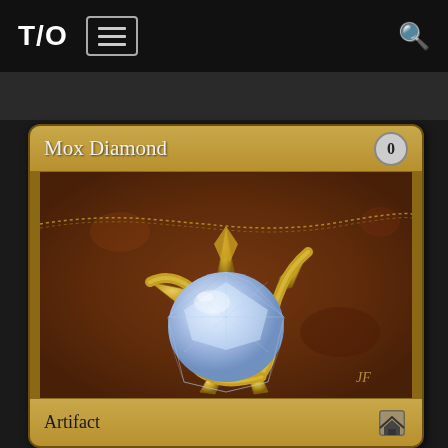T/O
[Figure (illustration): Magic: The Gathering card 'Mox Diamond' showing a diamond gemstone held in a golden thorned/spiked mount on a chain, set against a dark brown earthy background. The card has a tan/gold border, card name 'Mox Diamond' in the upper left, mana cost '0' in a gray circle upper right, art illustration in the center, and type line 'Artifact' at the bottom with a set symbol icon.]